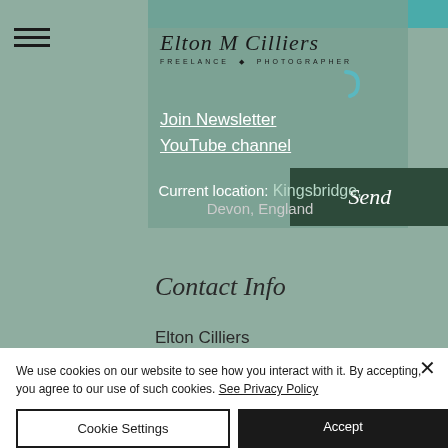[Figure (screenshot): Website screenshot of Elton M Cilliers Freelance Photographer contact page with navigation overlay showing logo, Join Newsletter and YouTube channel links, current location Kingsbridge Devon England, Send button, Contact Info section with name Elton Cilliers, and cookie consent banner at bottom]
Join Newsletter
YouTube channel
Current location: Kingsbridge, Devon, England
Contact Info
Elton Cilliers
We use cookies on our website to see how you interact with it. By accepting, you agree to our use of such cookies. See Privacy Policy